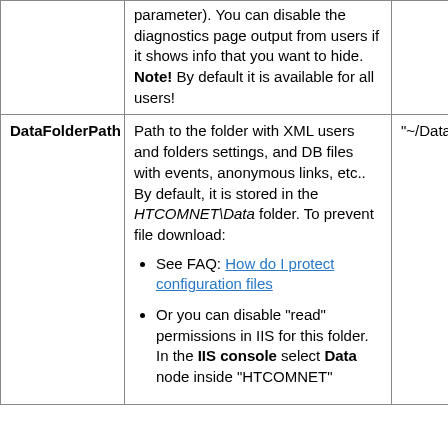|  | parameter). You can disable the diagnostics page output from users if it shows info that you want to hide. Note! By default it is available for all users! |  |
| DataFolderPath | Path to the folder with XML users and folders settings, and DB files with events, anonymous links, etc.. By default, it is stored in the HTCOMNET\Data folder. To prevent file download:
• See FAQ: How do I protect configuration files
• Or you can disable "read" permissions in IIS for this folder. In the IIS console select Data node inside "HTCOMNET" | "~/Data" |